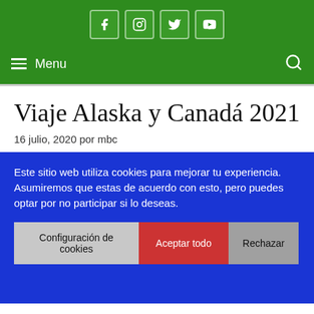Social icons: Facebook, Instagram, Twitter, YouTube
Menu | Search
Viaje Alaska y Canadá 2021
16 julio, 2020 por mbc
Este sitio web utiliza cookies para mejorar tu experiencia. Asumiremos que estas de acuerdo con esto, pero puedes optar por no participar si lo deseas.
Configuración de cookies | Aceptar todo | Rechazar